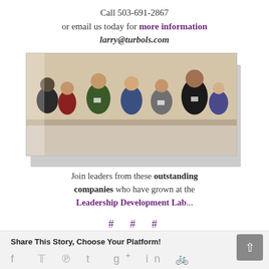Call 503-691-2867
or email us today for more information
larry@turbols.com
[Figure (photo): Group of business professionals networking at an indoor event, standing and talking in a conference or meeting room setting.]
Join leaders from these outstanding companies who have grown at the Leadership Development Lab...
# # #
Share This Story, Choose Your Platform!